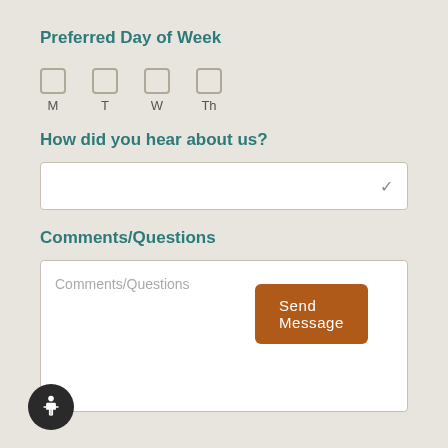Preferred Day of Week
M
T
W
Th
How did you hear about us?
(dropdown selector)
Comments/Questions
Comments/Questions (placeholder)
Send Message